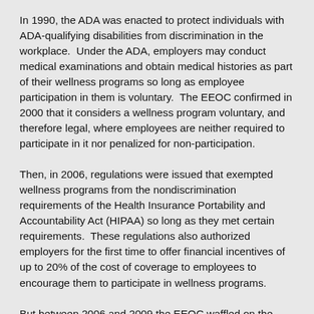In 1990, the ADA was enacted to protect individuals with ADA-qualifying disabilities from discrimination in the workplace. Under the ADA, employers may conduct medical examinations and obtain medical histories as part of their wellness programs so long as employee participation in them is voluntary. The EEOC confirmed in 2000 that it considers a wellness program voluntary, and therefore legal, where employees are neither required to participate in it nor penalized for non-participation.
Then, in 2006, regulations were issued that exempted wellness programs from the nondiscrimination requirements of the Health Insurance Portability and Accountability Act (HIPAA) so long as they met certain requirements. These regulations also authorized employers for the first time to offer financial incentives of up to 20% of the cost of coverage to employees to encourage them to participate in wellness programs.
But between 2006 and 2009 the EEOC waffled on the legality of